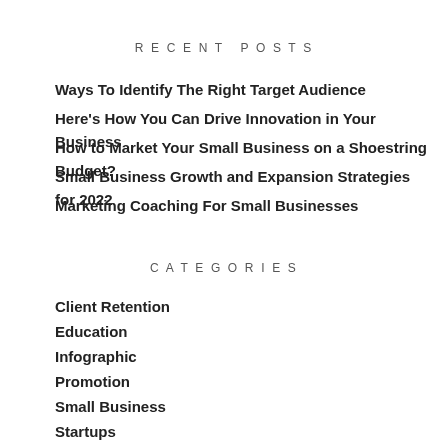RECENT POSTS
Ways To Identify The Right Target Audience
Here's How You Can Drive Innovation in Your Business
How to Market Your Small Business on a Shoestring Budget?
Small Business Growth and Expansion Strategies for 2022
Marketing Coaching For Small Businesses
CATEGORIES
Client Retention
Education
Infographic
Promotion
Small Business
Startups
Target Market